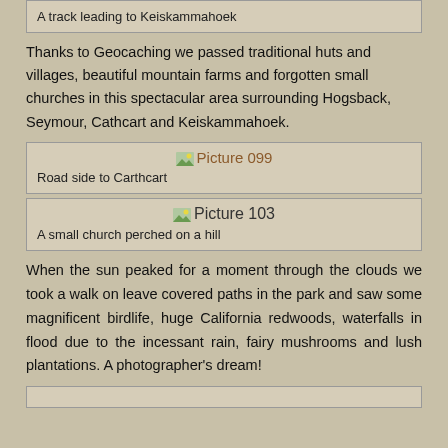A track leading to Keiskammahoek
Thanks to Geocaching we passed traditional huts and villages, beautiful mountain farms and forgotten small churches in this spectacular area surrounding Hogsback, Seymour, Cathcart and Keiskammahoek.
[Figure (photo): Picture 099 placeholder image]
Road side to Carthcart
[Figure (photo): Picture 103 placeholder image]
A small church perched on a hill
When the sun peaked for a moment through the clouds we took a walk on leave covered paths in the park and saw some magnificent birdlife, huge California redwoods, waterfalls in flood due to the incessant rain, fairy mushrooms and lush plantations. A photographer's dream!
[Figure (photo): Partial figure box at bottom of page]